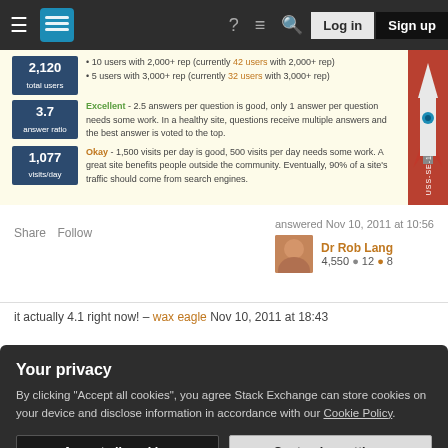Stack Exchange navigation bar with Log in and Sign up buttons
[Figure (screenshot): Stack Exchange site stats panel showing 2,120 total users, 3.7 answer ratio, 1,077 visits/day with descriptions]
Share  Follow
answered Nov 10, 2011 at 10:56
Dr Rob Lang
4,550  12  8
it actually 4.1 right now! – wax eagle Nov 10, 2011 at 18:43
Your privacy
By clicking "Accept all cookies", you agree Stack Exchange can store cookies on your device and disclose information in accordance with our Cookie Policy.
Accept all cookies   Customize settings
easier! – Dr Rob Lang Nov 11, 2011 at 9:42